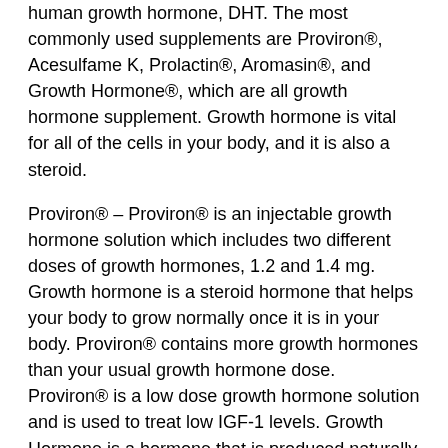human growth hormone, DHT. The most commonly used supplements are Proviron®, Acesulfame K, Prolactin®, Aromasin®, and Growth Hormone®, which are all growth hormone supplement. Growth hormone is vital for all of the cells in your body, and it is also a steroid.
Proviron® – Proviron® is an injectable growth hormone solution which includes two different doses of growth hormones, 1.2 and 1.4 mg. Growth hormone is a steroid hormone that helps your body to grow normally once it is in your body. Proviron® contains more growth hormones than your usual growth hormone dose. Proviron® is a low dose growth hormone solution and is used to treat low IGF-1 levels. Growth Hormone is a hormone that is produced naturally by bone marrow and is used as a growth hormone. Growth Hormone supplements are safe and are not a great...